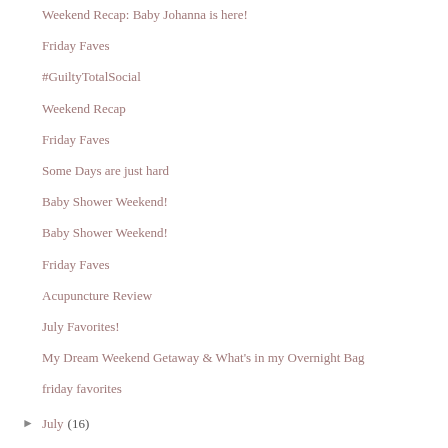Weekend Recap: Baby Johanna is here!
Friday Faves
#GuiltyTotalSocial
Weekend Recap
Friday Faves
Some Days are just hard
Baby Shower Weekend!
Baby Shower Weekend!
Friday Faves
Acupuncture Review
July Favorites!
My Dream Weekend Getaway & What's in my Overnight Bag
friday favorites
► July (16)
► June (14)
► May (16)
► April (15)
► March (12)